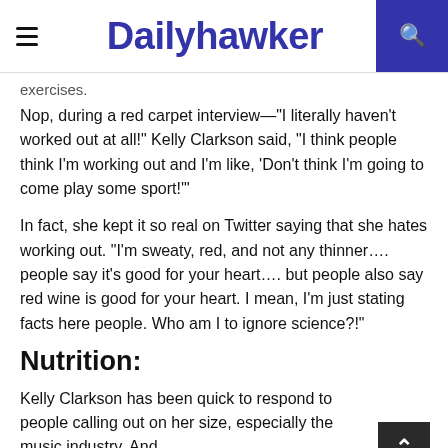Dailyhawker
exercises.
Nop, during a red carpet interview—"I literally haven't worked out at all!" Kelly Clarkson said, "I think people think I'm working out and I'm like, 'Don't think I'm going to come play some sport!'"
In fact, she kept it so real on Twitter saying that she hates working out. "I'm sweaty, red, and not any thinner…. people say it's good for your heart…. but people also say red wine is good for your heart. I mean, I'm just stating facts here people. Who am I to ignore science?!"
Nutrition:
Kelly Clarkson has been quick to respond to people calling out on her size, especially the music industry. And